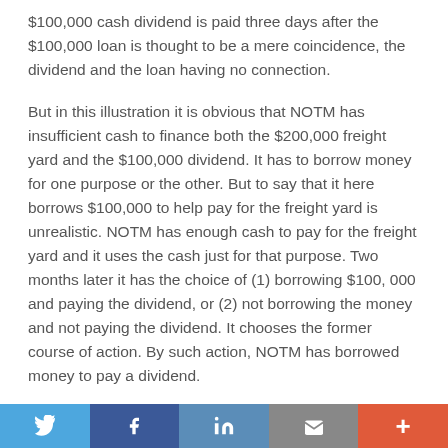$100,000 cash dividend is paid three days after the $100,000 loan is thought to be a mere coincidence, the dividend and the loan having no connection.
But in this illustration it is obvious that NOTM has insufficient cash to finance both the $200,000 freight yard and the $100,000 dividend. It has to borrow money for one purpose or the other. But to say that it here borrows $100,000 to help pay for the freight yard is unrealistic. NOTM has enough cash to pay for the freight yard and it uses the cash just for that purpose. Two months later it has the choice of (1) borrowing $100, 000 and paying the dividend, or (2) not borrowing the money and not paying the dividend. It chooses the former course of action. By such action, NOTM has borrowed money to pay a dividend.
The foregoing illustration indicates what the record in this
[Figure (other): Social media sharing bar with Twitter, Facebook, LinkedIn, Email, and More buttons]